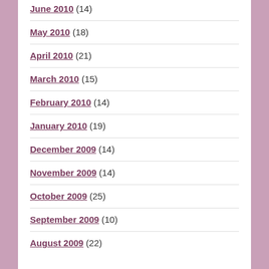June 2010 (14)
May 2010 (18)
April 2010 (21)
March 2010 (15)
February 2010 (14)
January 2010 (19)
December 2009 (14)
November 2009 (14)
October 2009 (25)
September 2009 (10)
August 2009 (22)